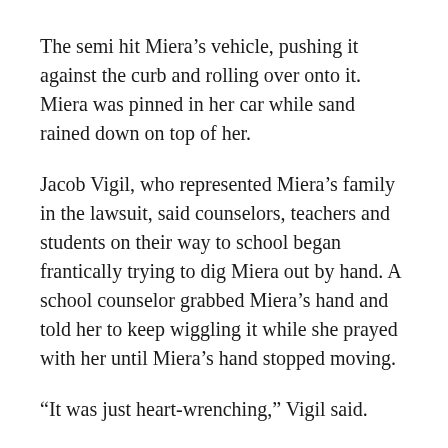The semi hit Miera’s vehicle, pushing it against the curb and rolling over onto it. Miera was pinned in her car while sand rained down on top of her.
Jacob Vigil, who represented Miera’s family in the lawsuit, said counselors, teachers and students on their way to school began frantically trying to dig Miera out by hand. A school counselor grabbed Miera’s hand and told her to keep wiggling it while she prayed with her until Miera’s hand stopped moving.
“It was just heart-wrenching,” Vigil said.
Miera died of “compression asphyxiation,” according to her death certificate.
She was a second-grade little one who had to...